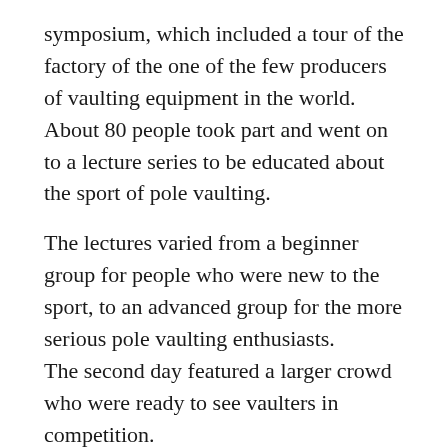symposium, which included a tour of the factory of the one of the few producers of vaulting equipment in the world. About 80 people took part and went on to a lecture series to be educated about the sport of pole vaulting.
The lectures varied from a beginner group for people who were new to the sport, to an advanced group for the more serious pole vaulting enthusiasts. The second day featured a larger crowd who were ready to see vaulters in competition. Two vaulting runways were set up to for the competitors in both the open and elite events.